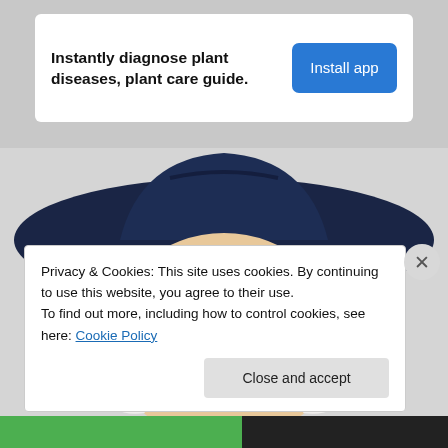Instantly diagnose plant diseases, plant care guide.
[Figure (illustration): Illustrated Quaker Oats man character with dark wide-brim hat and white hair, peeking up from bottom of frame]
Privacy & Cookies: This site uses cookies. By continuing to use this website, you agree to their use. To find out more, including how to control cookies, see here: Cookie Policy